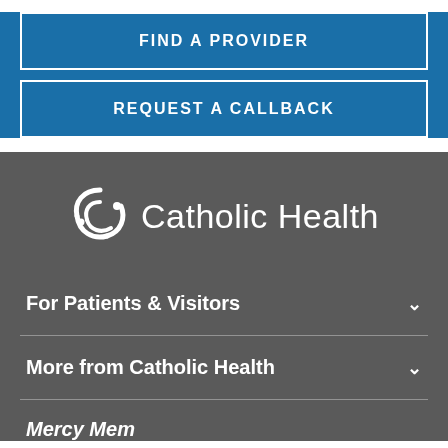FIND A PROVIDER
REQUEST A CALLBACK
[Figure (logo): Catholic Health logo with circular symbol icon and text 'Catholic Health']
For Patients & Visitors
More from Catholic Health
Mercy Memorial Hospital